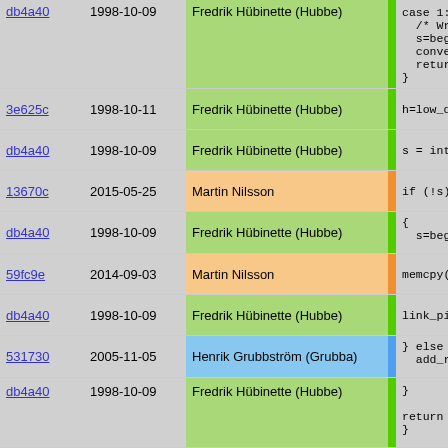| Hash | Date | Author | Bar | Code |
| --- | --- | --- | --- | --- |
| db4a40 | 1998-10-09 | Fredrik Hübinette (Hubbe) |  | case 1:
  /* Wro
  s=beg;
  conver
  return
} |
| 3e625c | 1998-10-11 | Fredrik Hübinette (Hubbe) |  | h=low_do_h |
| db4a40 | 1998-10-09 | Fredrik Hübinette (Hubbe) |  | s = intern |
| 13670c | 2015-05-25 | Martin Nilsson |  | if (!s) |
| db4a40 | 1998-10-09 | Fredrik Hübinette (Hubbe) |  | {
  s=begin_ |
| 59fc9e | 2014-09-03 | Martin Nilsson |  | memcpy(s |
| db4a40 | 1998-10-09 | Fredrik Hübinette (Hubbe) |  | link_pik |
| 531730 | 2005-11-05 | Henrik Grubbström (Grubba) |  | } else {
  add_ref |
| db4a40 | 1998-10-09 | Fredrik Hübinette (Hubbe) |  | }

return s;
} |
| 1f2133 | 2000-07-28 | Fredrik Hübinette (Hubbe) |  | PMOD_EXPORT |